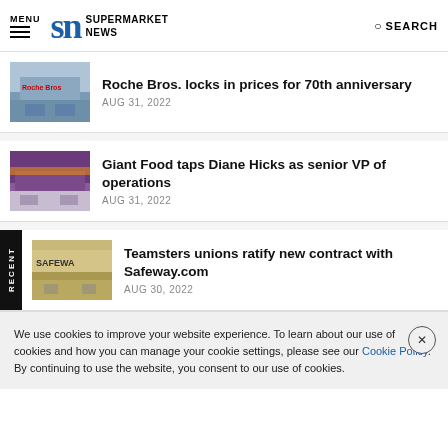MENU | SN SUPERMARKET NEWS | SEARCH
[Figure (screenshot): Roche Bros. store exterior photo thumbnail]
Roche Bros. locks in prices for 70th anniversary
AUG 31, 2022
[Figure (screenshot): Giant Food store exterior photo thumbnail]
Giant Food taps Diane Hicks as senior VP of operations
AUG 31, 2022
[Figure (screenshot): Safeway store exterior photo thumbnail]
Teamsters unions ratify new contract with Safeway.com
AUG 30, 2022
We use cookies to improve your website experience. To learn about our use of cookies and how you can manage your cookie settings, please see our Cookie Policy. By continuing to use the website, you consent to our use of cookies.